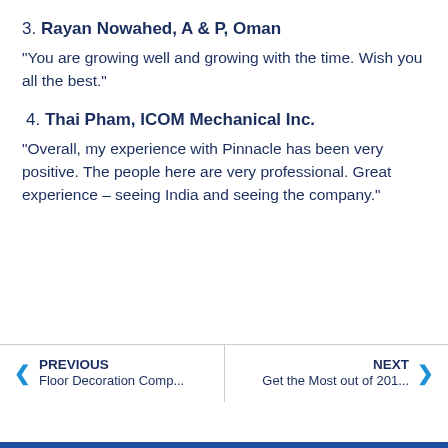3. Rayan Nowahed, A & P, Oman
“You are growing well and growing with the time. Wish you all the best.”
4. Thai Pham, ICOM Mechanical Inc.
“Overall, my experience with Pinnacle has been very positive. The people here are very professional. Great experience – seeing India and seeing the company.”
PREVIOUS Floor Decoration Comp... | NEXT Get the Most out of 201...